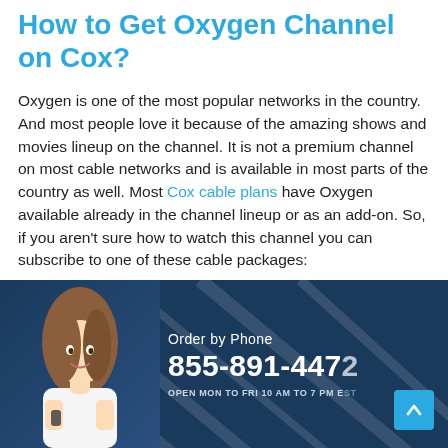How to Get Oxygen Channel on Cox?
Oxygen is one of the most popular networks in the country. And most people love it because of the amazing shows and movies lineup on the channel. It is not a premium channel on most cable networks and is available in most parts of the country as well. Most Cox cable plans have Oxygen available already in the channel lineup or as an add-on. So, if you aren't sure how to watch this channel you can subscribe to one of these cable packages:
| Cox Cable Plan | No. Of Channels | Oxygen Availability |
| --- | --- | --- |
Order by Phone
855-891-4472
OPEN MON TO FRI 10 AM TO 7 PM EST